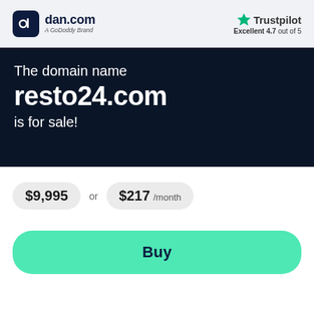[Figure (logo): dan.com logo — dark rounded square icon with stylized 'd' symbol, followed by 'dan.com' text and 'A GoDoddy Brand' subtitle]
[Figure (logo): Trustpilot logo — green star icon followed by 'Trustpilot' text, with 'Excellent 4.7 out of 5' below]
The domain name resto24.com is for sale!
$9,995 or $217 /month
Buy